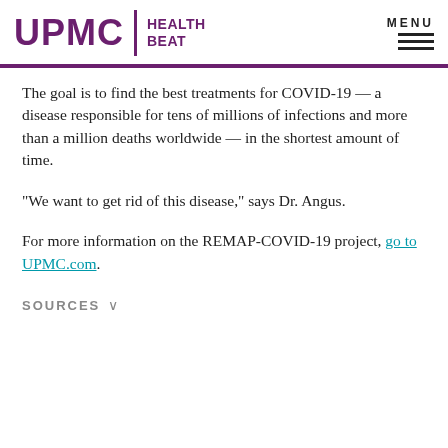UPMC HEALTH BEAT
The goal is to find the best treatments for COVID-19 — a disease responsible for tens of millions of infections and more than a million deaths worldwide — in the shortest amount of time.
“We want to get rid of this disease,” says Dr. Angus.
For more information on the REMAP-COVID-19 project, go to UPMC.com.
SOURCES